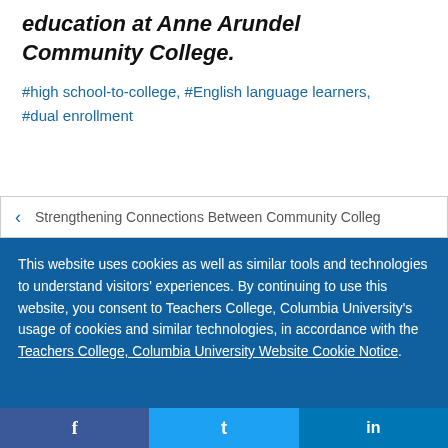education at Anne Arundel Community College.
#high school-to-college, #English language learners, #dual enrollment
Strengthening Connections Between Community Colleg
This website uses cookies as well as similar tools and technologies to understand visitors' experiences. By continuing to use this website, you consent to Teachers College, Columbia University's usage of cookies and similar technologies, in accordance with the Teachers College, Columbia University Website Cookie Notice.
f
t
in